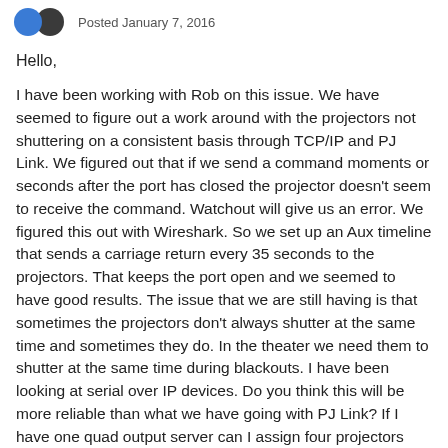Posted January 7, 2016
Hello,
I have been working with Rob on this issue. We have seemed to figure out a work around with the projectors not shuttering on a consistent basis through TCP/IP and PJ Link. We figured out that if we send a command moments or seconds after the port has closed the projector doesn't seem to receive the command. Watchout will give us an error. We figured this out with Wireshark. So we set up an Aux timeline that sends a carriage return every 35 seconds to the projectors. That keeps the port open and we seemed to have good results. The issue that we are still having is that sometimes the projectors don't always shutter at the same time and sometimes they do. In the theater we need them to shutter at the same time during blackouts. I have been looking at serial over IP devices. Do you think this will be more reliable than what we have going with PJ Link? If I have one quad output server can I assign four projectors their own com port and be able to control them individually? I thought Watchout can only be used on Com port 1 and it looks like the serial over IP devices take up additional comm ports. If someone has a good suggestion on what brand and type of serial to IP converters to